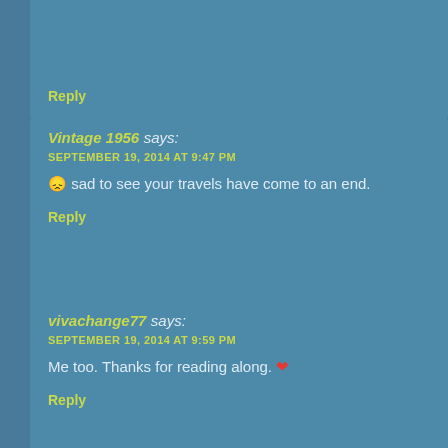Reply
Vintage 1956 says:
SEPTEMBER 19, 2014 AT 9:47 PM
😞 sad to see your travels have come to an end.
Reply
vivachange77 says:
SEPTEMBER 19, 2014 AT 9:59 PM
Me too. Thanks for reading along. ❤
Reply
Susan Rowland says:
OCTOBER 16, 2014 AT 12:43 AM
Slowly catching up on your stories. I love the drea